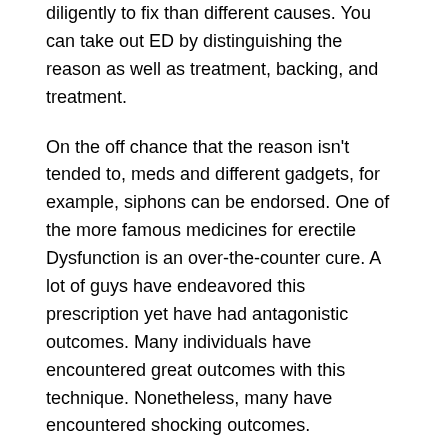diligently to fix than different causes. You can take out ED by distinguishing the reason as well as treatment, backing, and treatment.
On the off chance that the reason isn't tended to, meds and different gadgets, for example, siphons can be endorsed. One of the more famous medicines for erectile Dysfunction is an over-the-counter cure. A lot of guys have endeavored this prescription yet have had antagonistic outcomes. Many individuals have encountered great outcomes with this technique. Nonetheless, many have encountered shocking outcomes.
That is the reason for concentrating on every one of the details fundamental. Try not to utilize this medicine without help from anyone else. It is pivotal to acquire the endorsement of your doctor before you begin taking this medicine.
This is particularly significant when you are ingesting doctor-prescribed medications. Kamagra oral jam will not be as successful when you take doctor-prescribed prescriptions like